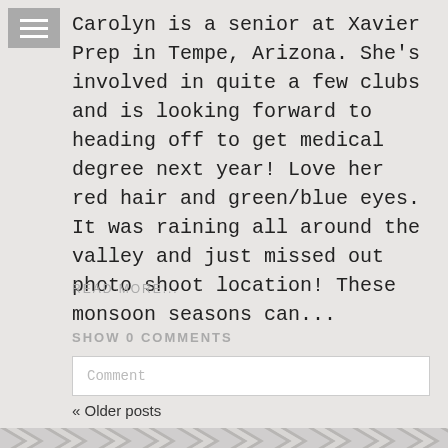Carolyn is a senior at Xavier Prep in Tempe, Arizona. She’s involved in quite a few clubs and is looking forward to heading off to get medical degree next year! Love her red hair and green/blue eyes. It was raining all around the valley and just missed out photo shoot location! These monsoon seasons can...
READ MORE...
SHOW 0 COMMENTS
Comment
« Older posts
[Figure (illustration): Chevron/herringbone repeating pattern strip in grey and white]
© 2022 Nikelle Bennett Photography | ProPhoto8